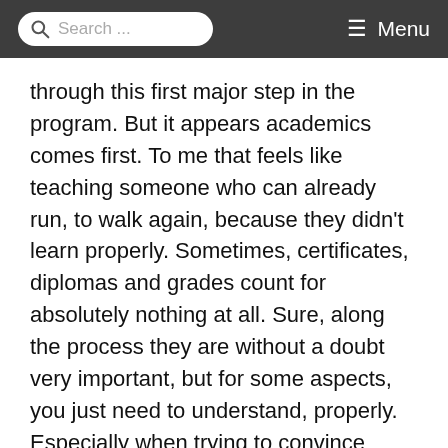Search ... Menu
through this first major step in the program. But it appears academics comes first. To me that feels like teaching someone who can already run, to walk again, because they didn't learn properly. Sometimes, certificates, diplomas and grades count for absolutely nothing at all. Sure, along the process they are without a doubt very important, but for some aspects, you just need to understand, properly. Especially when trying to convince someone to walk out of their door into daylight for the first time in a month.
So here I am, frustrated that due to my lack of qualifications, I am near helpless to play a role in this.